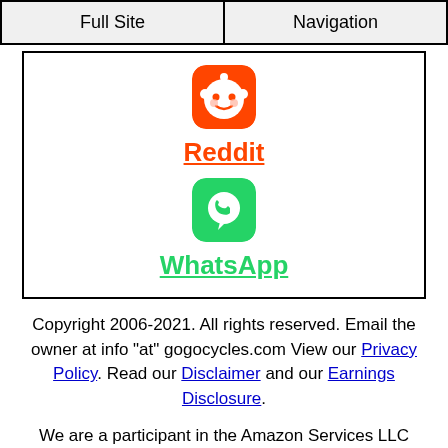Full Site | Navigation
[Figure (logo): Reddit orange rounded square icon with alien mascot]
Reddit
[Figure (logo): WhatsApp green rounded square icon with phone/chat symbol]
WhatsApp
Copyright 2006-2021. All rights reserved. Email the owner at info "at" gogocycles.com View our Privacy Policy. Read our Disclaimer and our Earnings Disclosure.
We are a participant in the Amazon Services LLC Associates Program, an affiliate advertising program designed to provide a means for us to earn fees by linking to Amazon.com and affiliated sites as well as Ebay Partner Network and others. Please visit our